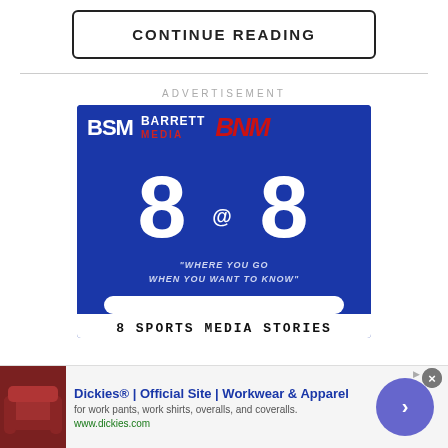CONTINUE READING
ADVERTISEMENT
[Figure (logo): Barrett Sports Media / BNM advertisement banner showing BSM BARRETT MEDIA BNM logos, large '8@8' graphic, tagline 'WHERE YOU GO WHEN YOU WANT TO KNOW', and '8 SPORTS MEDIA STORIES' text]
[Figure (photo): Bottom advertisement bar for Dickies showing a photo of red leather furniture, Dickies official site text, and a circular arrow button]